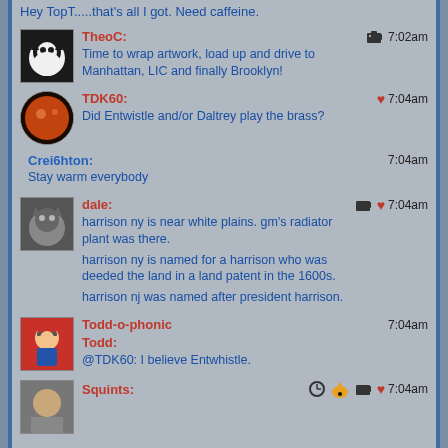Hey TopT.....that's all I got. Need caffeine.
TheoC: 7:02am — Time to wrap artwork, load up and drive to Manhattan, LIC and finally Brooklyn!
TDK60: 7:04am — Did Entwistle and/or Daltrey play the brass?
Crei6hton: 7:04am — Stay warm everybody
dale: 7:04am — harrison ny is near white plains. gm's radiator plant was there. harrison ny is named for a harrison who was deeded the land in a land patent in the 1600s. harrison nj was named after president harrison.
Todd-o-phonic Todd: 7:04am — @TDK60: I believe Entwhistle.
Squints: 7:04am